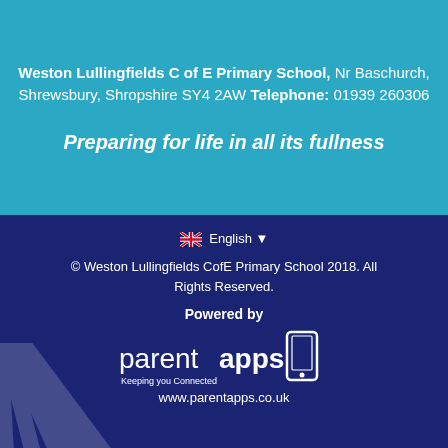Weston Lullingfields C of E Primary School, Nr Baschurch, Shrewsbury, Shropshire SY4 2AW Telephone: 01939 260306
Preparing for life in all its fullness
🇬🇧 English ▼
© Weston Lullingfields CofE Primary School 2018. All Rights Reserved.
Powered by
[Figure (logo): parentapps logo with text 'Keeping you Connected' and a smartphone icon]
www.parentapps.co.uk